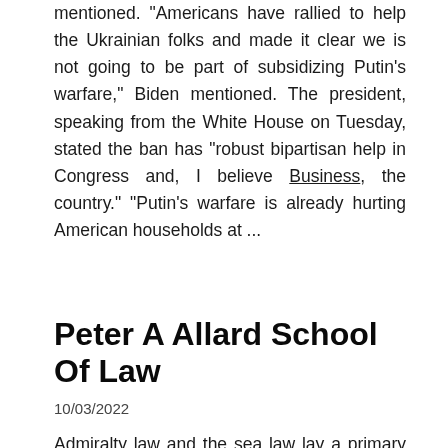mentioned. "Americans have rallied to help the Ukrainian folks and made it clear we is not going to be part of subsidizing Putin's warfare," Biden mentioned. The president, speaking from the White House on Tuesday, stated the ban has "robust bipartisan help in Congress and, I believe Business, the country." "Putin's warfare is already hurting American households at ...
Read More
Peter A Allard School Of Law
10/03/2022
Admiralty law and the sea law lay a primary framework at no cost commerce and commerce across the world's oceans and seas, the place outside of a rustic's zone of